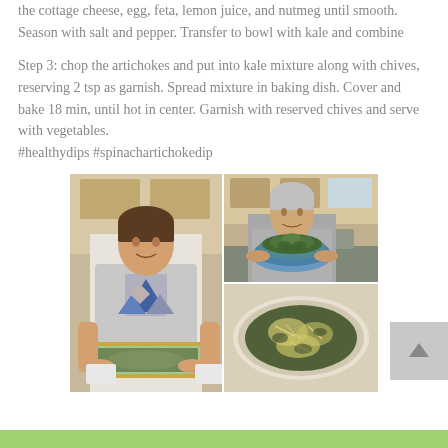the cottage cheese, egg, feta, lemon juice, and nutmeg until smooth. Season with salt and pepper. Transfer to bowl with kale and combine
Step 3: chop the artichokes and put into kale mixture along with chives, reserving 2 tsp as garnish. Spread mixture in baking dish. Cover and bake 18 min, until hot in center. Garnish with reserved chives and serve with vegetables.
#healthydips #spinachartichokedip
[Figure (photo): A 2x2 photo collage: top-left and bottom-left show a young woman in a grey t-shirt holding a baking dish with spinach artichoke dip; top-right shows an older woman smiling and holding a large bowl of salad in a kitchen; bottom-right shows an oval baking dish with spinach artichoke dip topped with shredded cheese.]